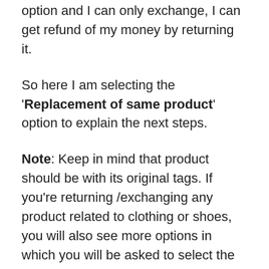option and I can only exchange, I can get refund of my money by returning it.
So here I am selecting the 'Replacement of same product' option to explain the next steps.
Note: Keep in mind that product should be with its original tags. If you're returning /exchanging any product related to clothing or shoes, you will also see more options in which you will be asked to select the new size. For example, if you have bought UK7 number shoes then you will be able to exchange them with smaller or larger size.
After that choose your pickup address. You delivery address will be selected as pickup address, by